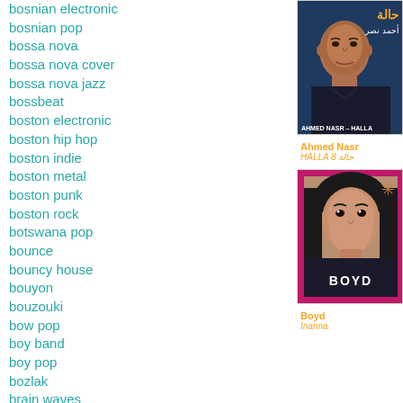bosnian electronic
bosnian pop
bossa nova
bossa nova cover
bossa nova jazz
bossbeat
boston electronic
boston hip hop
boston indie
boston metal
boston punk
boston rock
botswana pop
bounce
bouncy house
bouyon
bouzouki
bow pop
boy band
boy pop
bozlak
brain waves
braindance
brasilia indie
brass band
[Figure (photo): Album cover for Ahmed Nasr - HALLA (حالة). Shows a man in a dark shirt against a dark blue background. Text overlay shows Arabic title حالة and artist name أحمد نصر. Bottom overlay reads AHMED NASR – HALLA.]
Ahmed Nasr
HALLA 8 حالة
[Figure (photo): Album cover for Boyd - Inanna. Shows a young woman with dark hair and red lips wearing a black BOYD shirt, against a pink/magenta border background.]
Boyd
Inanna